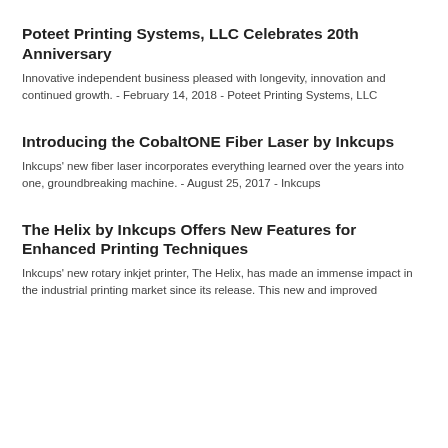Poteet Printing Systems, LLC Celebrates 20th Anniversary
Innovative independent business pleased with longevity, innovation and continued growth. - February 14, 2018 - Poteet Printing Systems, LLC
Introducing the CobaltONE Fiber Laser by Inkcups
Inkcups' new fiber laser incorporates everything learned over the years into one, groundbreaking machine. - August 25, 2017 - Inkcups
The Helix by Inkcups Offers New Features for Enhanced Printing Techniques
Inkcups' new rotary inkjet printer, The Helix, has made an immense impact in the industrial printing market since its release. This new and improved